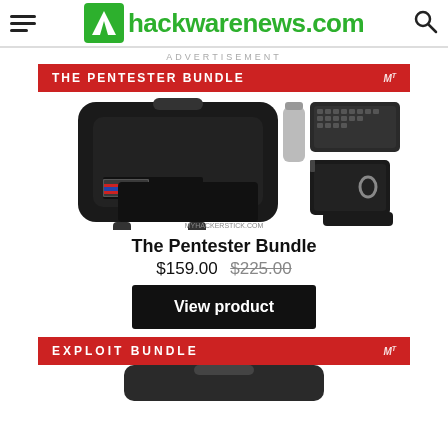hackwarenews.com
ADVERTISEMENT
[Figure (screenshot): The Pentester Bundle advertisement banner and product image showing tactical backpack, mini keyboard, accessories, cable pouch, and tech gear. Banner reads 'THE PENTESTER BUNDLE' in red. Product image sourced from myhackerstick.com]
The Pentester Bundle
$159.00  $225.00
View product
[Figure (screenshot): Exploit Bundle advertisement banner in red reading 'EXPLOIT BUNDLE' with partial bag image below]